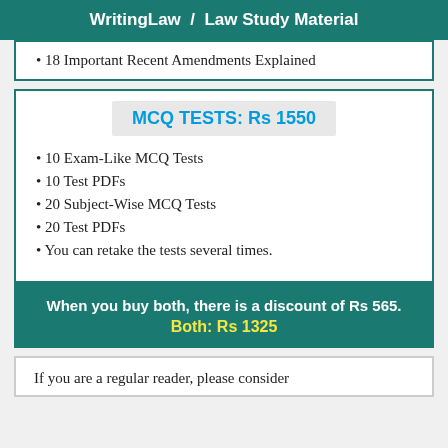WritingLaw / Law Study Material
18 Important Recent Amendments Explained
MCQ TESTS: Rs 1550
10 Exam-Like MCQ Tests
10 Test PDFs
20 Subject-Wise MCQ Tests
20 Test PDFs
You can retake the tests several times.
When you buy both, there is a discount of Rs 565. Both: Rs 1325
If you are a regular reader, please consider